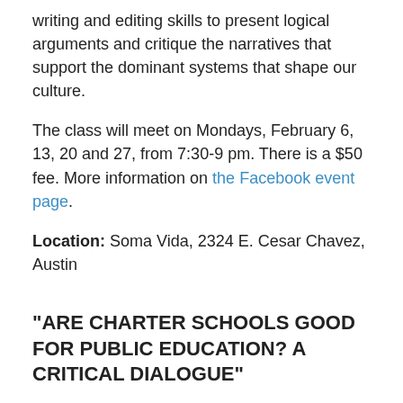writing and editing skills to present logical arguments and critique the narratives that support the dominant systems that shape our culture.
The class will meet on Mondays, February 6, 13, 20 and 27, from 7:30-9 pm. There is a $50 fee. More information on the Facebook event page.
Location: Soma Vida, 2324 E. Cesar Chavez, Austin
“ARE CHARTER SCHOOLS GOOD FOR PUBLIC EDUCATION? A CRITICAL DIALOGUE”
Date: February 10, 2017
Time: 12:00 pm to 1:30 pm